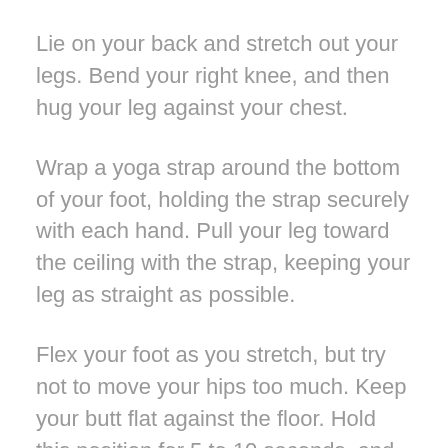Lie on your back and stretch out your legs. Bend your right knee, and then hug your leg against your chest.
Wrap a yoga strap around the bottom of your foot, holding the strap securely with each hand. Pull your leg toward the ceiling with the strap, keeping your leg as straight as possible.
Flex your foot as you stretch, but try not to move your hips too much. Keep your butt flat against the floor. Hold this position for 5 to 10 seconds, and then release and repeat with your other leg.